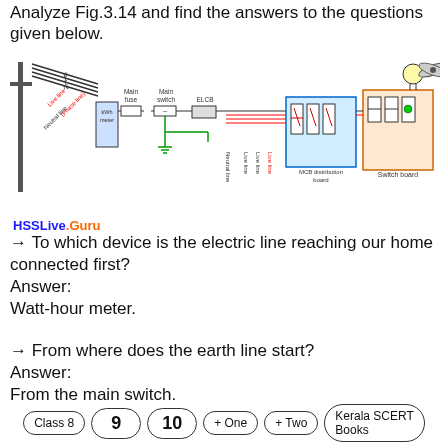Analyze Fig.3.14 and find the answers to the questions given below.
[Figure (engineering-diagram): Electrical wiring diagram showing power line connection to home: utility pole with lines labeled P, T, N, connected to kWh meter, Main fuse, Main switch, ELCB, then Neutral line and Live lines going to MCB distribution board and Switch board, with a light bulb and ceiling fan depicted.]
HSSLive.Guru
→ To which device is the electric line reaching our home connected first?
Answer:
Watt-hour meter.
→ From where does the earth line start?
Answer:
From the main switch.
Class 8  9  10  + One  + Two  Kerala SCERT Books